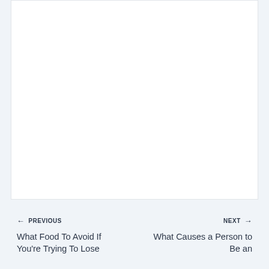[Figure (other): White empty content box placeholder area]
← PREVIOUS
What Food To Avoid If You're Trying To Lose
NEXT →
What Causes a Person to Be an